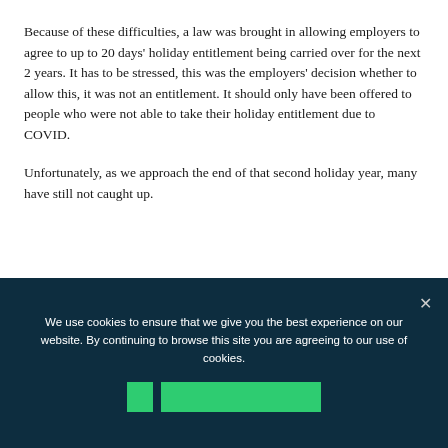Because of these difficulties, a law was brought in allowing employers to agree to up to 20 days' holiday entitlement being carried over for the next 2 years. It has to be stressed, this was the employers' decision whether to allow this, it was not an entitlement. It should only have been offered to people who were not able to take their holiday entitlement due to COVID.
Unfortunately, as we approach the end of that second holiday year, many have still not caught up.
We use cookies to ensure that we give you the best experience on our website. By continuing to browse this site you are agreeing to our use of cookies.